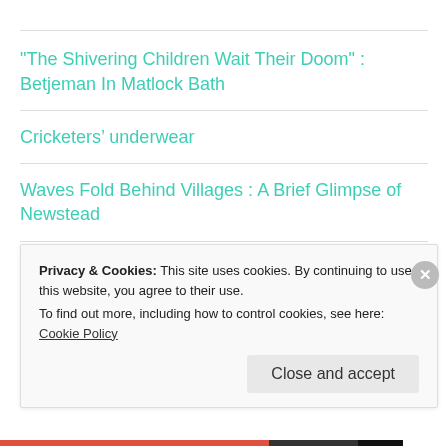"The Shivering Children Wait Their Doom" : Betjeman In Matlock Bath
Cricketers' underwear
Waves Fold Behind Villages : A Brief Glimpse of Newstead
Aut Tace Aut Loquere Meliora Silentio
Privacy & Cookies: This site uses cookies. By continuing to use this website, you agree to their use.
To find out more, including how to control cookies, see here: Cookie Policy